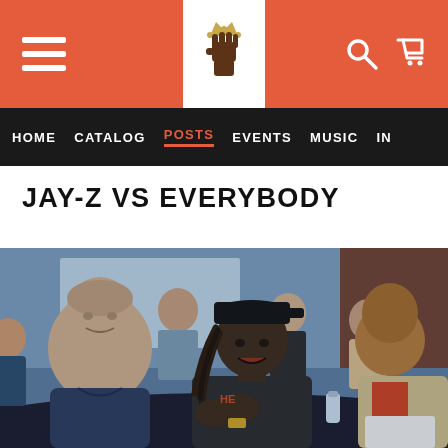Navigation header with hamburger menu, logo, search and cart icons
HOME  CATALOG  POSTS  EVENTS  MUSIC  IN
JAY-Z VS EVERYBODY
[Figure (photo): Photo of Jay-Z wearing a black cap and dark t-shirt, gesturing with hands while speaking, seated next to Roger Goodell (NFL Commissioner) in a navy polo shirt. Other people are seated in the background in what appears to be a conference room setting.]